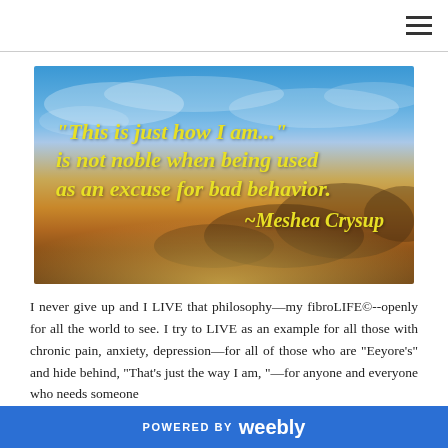[Figure (illustration): Inspirational quote image with sky/sunset background. Yellow italic bold text reads: "This is just how I am..." is not noble when being used as an excuse for bad behavior. ~Meshea Crysup]
I never give up and I LIVE that philosophy—my fibroLIFE©--openly for all the world to see. I try to LIVE as an example for all those with chronic pain, anxiety, depression—for all of those who are “Eeyore’s” and hide behind, “That’s just the way I am, ”—for anyone and everyone who needs someone
POWERED BY weebly